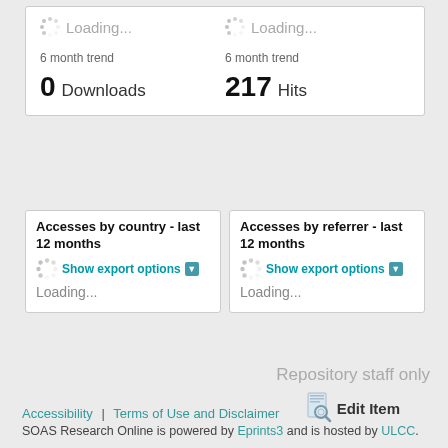Loading...
Loading...
6 month trend
6 month trend
0 Downloads
217 Hits
Accesses by country - last 12 months
Show export options
Loading...
Accesses by referrer - last 12 months
Show export options
Loading...
Repository staff only
Edit Item
Accessibility | Terms of Use and Disclaimer
SOAS Research Online is powered by Eprints3 and is hosted by ULCC.